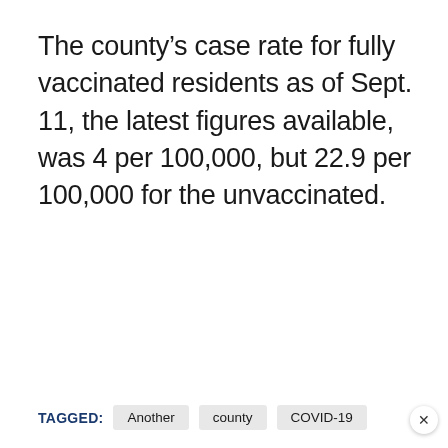The county’s case rate for fully vaccinated residents as of Sept. 11, the latest figures available, was 4 per 100,000, but 22.9 per 100,000 for the unvaccinated.
TAGGED: Another  county  COVID-19